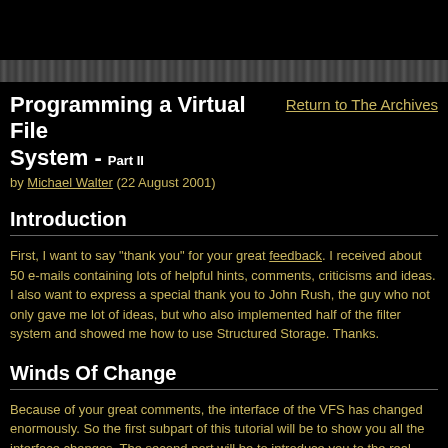[Figure (other): Dark textured banner strip across the top of the page]
Programming a Virtual File System - Part II
by Michael Walter (22 August 2001)
Return to The Archives
Introduction
First, I want to say "thank you" for your great feedback. I received about 50 e-mails containing lots of helpful hints, comments, criticisms and ideas. I also want to express a special thank you to John Rush, the guy who not only gave me lot of ideas, but who also implemented half of the filter system and showed me how to use Structured Storage. Thanks.
Winds Of Change
Because of your great comments, the interface of the VFS has changed enormously. So the first subpart of this tutorial will be to show you all the interface changes. The second part will be to introduce you to the real implementation of the VFS. I will also try to provide an implementation for a